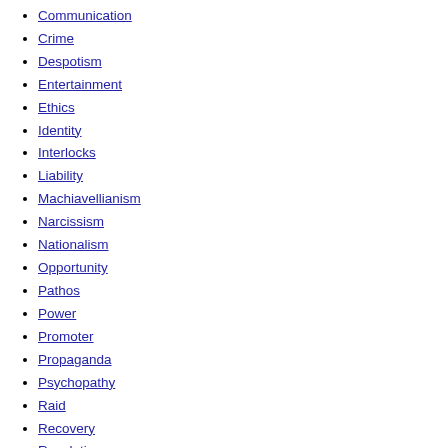Citizenship
Communication
Crime
Despotism
Entertainment
Ethics
Identity
Interlocks
Liability
Machiavellianism
Narcissism
Nationalism
Opportunity
Pathos
Power
Promoter
Propaganda
Psychopathy
Raid
Recovery
Resolution
Scandals
Security
Services
Social entrepreneurship